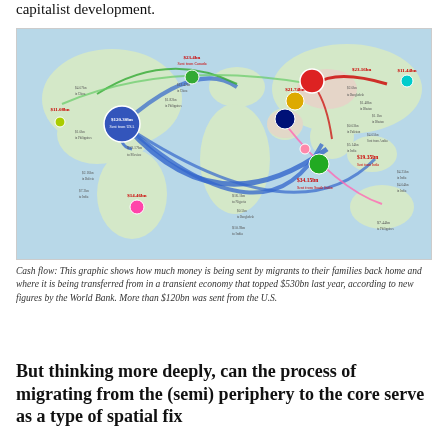capitalist development.
[Figure (map): World map showing remittance flows from migrant workers to their home countries. Large colored circles represent sending countries (largest is USA at $120bn+, shown in blue in North America). Curved arrows of varying colors and thicknesses show money flows to recipient countries including Mexico, India, China, Philippines, Nigeria, Bangladesh, and others. Dollar amounts labeled along flow lines and at nodes. Key labels include: $23.4bn from Canada, $23.16bn (red circle, likely Russia/Eastern Europe), $21.74bn (yellow), $11.44bn, $11.08bn, $34.15bn to India, $19.35bn, $14.46bn from Australia, $120.30bn from USA, $13.17bn to Mexico, $16.1bn to Nigeria, and various smaller amounts.]
Cash flow: This graphic shows how much money is being sent by migrants to their families back home and where it is being transferred from in a transient economy that topped $530bn last year, according to new figures by the World Bank. More than $120bn was sent from the U.S.
But thinking more deeply, can the process of migrating from the (semi) periphery to the core serve as a type of spatial fix